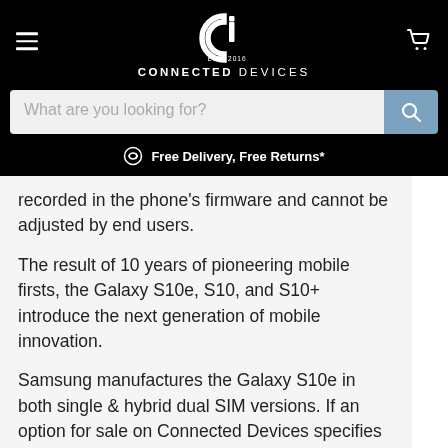CONNECTED DEVICES — Est. 2016
What are you looking for?
Free Delivery, Free Returns*
recorded in the phone's firmware and cannot be adjusted by end users.
The result of 10 years of pioneering mobile firsts, the Galaxy S10e, S10, and S10+ introduce the next generation of mobile innovation.
Samsung manufactures the Galaxy S10e in both single & hybrid dual SIM versions. If an option for sale on Connected Devices specifies "DUAL SIM" then it has the hybrid slot. If DUAL SIM is not mentioned in the option, please assume that it is the single SIM version of the